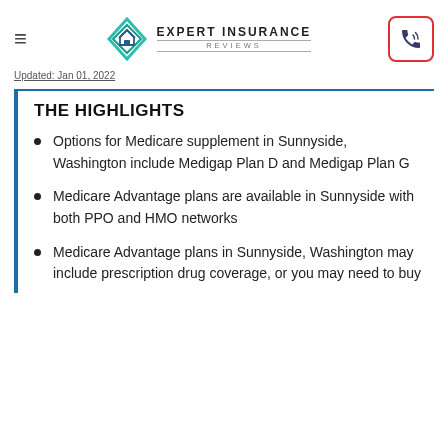EXPERT INSURANCE REVIEWS
Updated: Jan 01, 2022
THE HIGHLIGHTS
Options for Medicare supplement in Sunnyside, Washington include Medigap Plan D and Medigap Plan G
Medicare Advantage plans are available in Sunnyside with both PPO and HMO networks
Medicare Advantage plans in Sunnyside, Washington may include prescription drug coverage, or you may need to buy